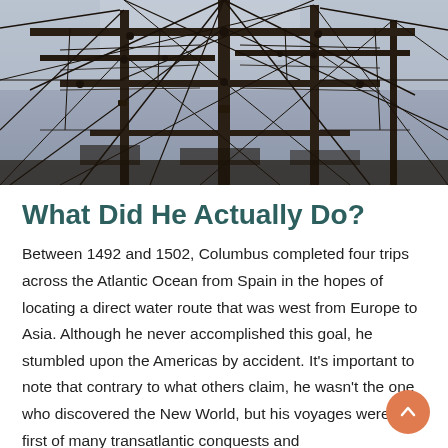[Figure (photo): Close-up photograph of a tall ship's masts, rigging, ropes and pulleys against a grey overcast sky, taken from below looking upward.]
What Did He Actually Do?
Between 1492 and 1502, Columbus completed four trips across the Atlantic Ocean from Spain in the hopes of locating a direct water route that was west from Europe to Asia. Although he never accomplished this goal, he stumbled upon the Americas by accident. It's important to note that contrary to what others claim, he wasn't the one who discovered the New World, but his voyages were the first of many transatlantic conquests and